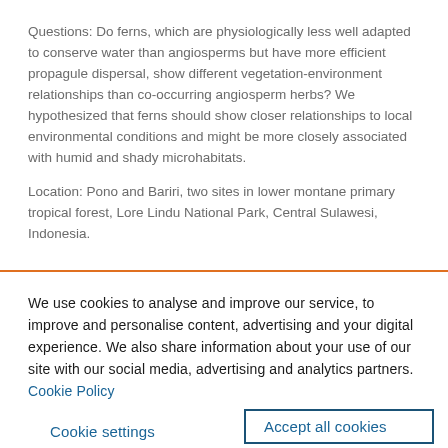Questions: Do ferns, which are physiologically less well adapted to conserve water than angiosperms but have more efficient propagule dispersal, show different vegetation-environment relationships than co-occurring angiosperm herbs? We hypothesized that ferns should show closer relationships to local environmental conditions and might be more closely associated with humid and shady microhabitats.
Location: Pono and Bariri, two sites in lower montane primary tropical forest, Lore Lindu National Park, Central Sulawesi, Indonesia.
We use cookies to analyse and improve our service, to improve and personalise content, advertising and your digital experience. We also share information about your use of our site with our social media, advertising and analytics partners.  Cookie Policy
Cookie settings
Accept all cookies